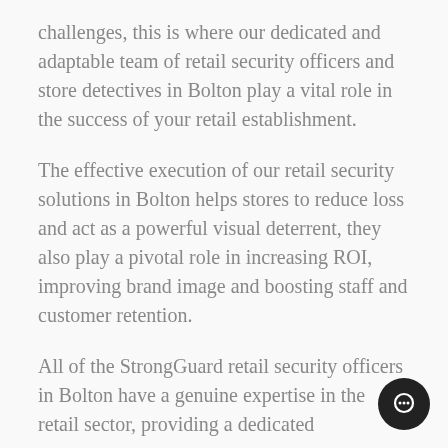challenges, this is where our dedicated and adaptable team of retail security officers and store detectives in Bolton play a vital role in the success of your retail establishment.
The effective execution of our retail security solutions in Bolton helps stores to reduce loss and act as a powerful visual deterrent, they also play a pivotal role in increasing ROI, improving brand image and boosting staff and customer retention.
All of the StrongGuard retail security officers in Bolton have a genuine expertise in the retail sector, providing a dedicated